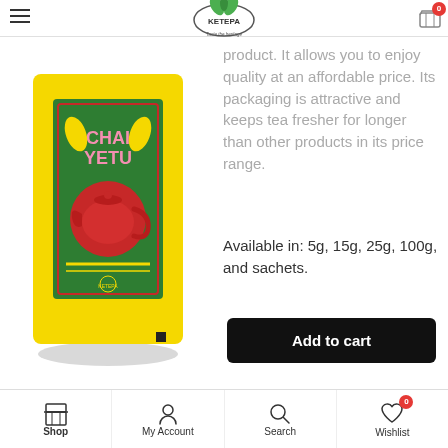[Figure (logo): KETEPA logo with green leaves and text 'Taste the heritage']
[Figure (photo): KETEPA Chai Yetu tea sachet product photo - yellow packaging with green label showing a red teapot]
product. It allows you to enjoy quality at an affordable price. Its packaging is attractive and keeps tea fresher for longer than other products in its price range.
Available in: 5g, 15g, 25g, 100g, and sachets.
[Figure (other): Add to cart black button]
[Figure (other): WhatsApp green icon button]
Shop   My Account   Search   Wishlist